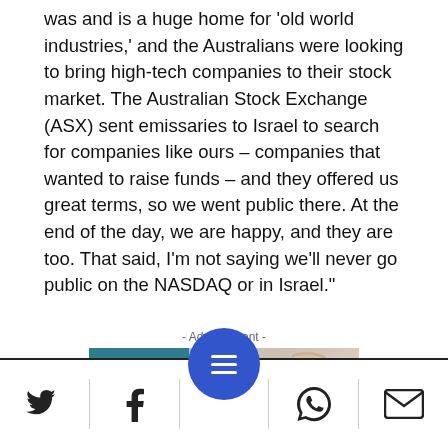was and is a huge home for 'old world industries,' and the Australians were looking to bring high-tech companies to their stock market. The Australian Stock Exchange (ASX) sent emissaries to Israel to search for companies like ours – companies that wanted to raise funds – and they offered us great terms, so we went public there. At the end of the day, we are happy, and they are too. That said, I'm not saying we'll never go public on the NASDAQ or in Israel."
- Advertisment -
[Figure (photo): Advertisement banner for Haaretz Labels featuring a woman in lab coat and safety glasses, with Haaretz Labels logo on a teal background on the left side]